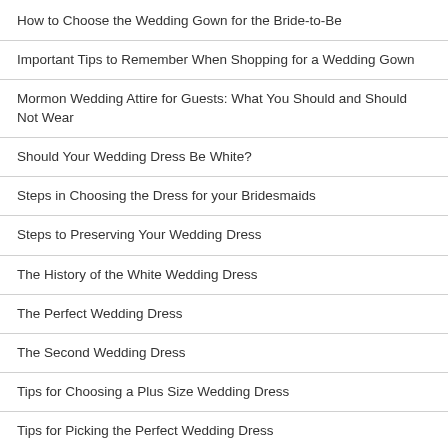How to Choose the Wedding Gown for the Bride-to-Be
Important Tips to Remember When Shopping for a Wedding Gown
Mormon Wedding Attire for Guests: What You Should and Should Not Wear
Should Your Wedding Dress Be White?
Steps in Choosing the Dress for your Bridesmaids
Steps to Preserving Your Wedding Dress
The History of the White Wedding Dress
The Perfect Wedding Dress
The Second Wedding Dress
Tips for Choosing a Plus Size Wedding Dress
Tips for Picking the Perfect Wedding Dress